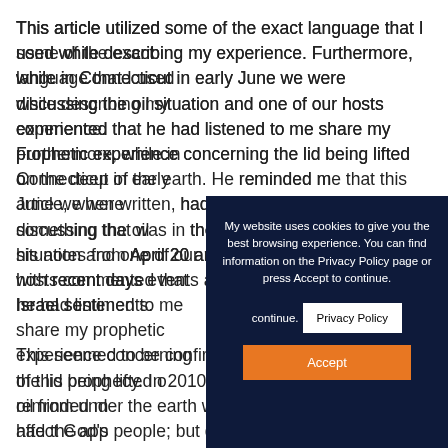This article utilized some of the exact language that I used while describing my experience. Furthermore, while in Connecticut in early June we were discussing the oil situation and one of our hosts commented that he had listened to me share my prophetic experience concerning the lid being lifted on the deep of the earth. He reminded me that this article, when written, had the appearance of something that was in the past. He then showed me his notes from April 20 and the language matched up with recent days events as they unfolded with the Israel sentiments.
This seemed to be confirmation of a dual application of this prophecy. In 2010 it was predicted that literally oil from under the earth would cover the land and affect God's people; but dark times would pass and God's people would receive the light that has come" (see Isaiah 60:1-5.)
My website uses cookies to give you the best browsing experience. You can find information on the Privacy Policy page or press Accept to continue.